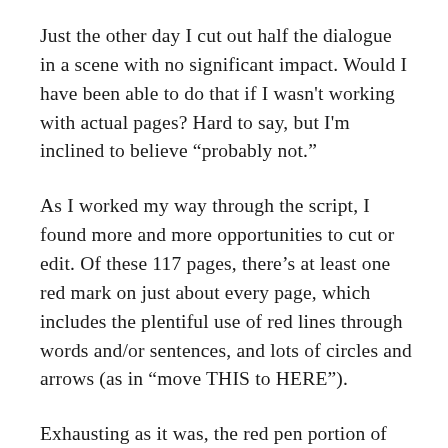Just the other day I cut out half the dialogue in a scene with no significant impact. Would I have been able to do that if I wasn't working with actual pages? Hard to say, but I'm inclined to believe “probably not.”
As I worked my way through the script, I found more and more opportunities to cut or edit. Of these 117 pages, there’s at least one red mark on just about every page, which includes the plentiful use of red lines through words and/or sentences, and lots of circles and arrows (as in “move THIS to HERE”).
Exhausting as it was, the red pen portion of the process is now complete.